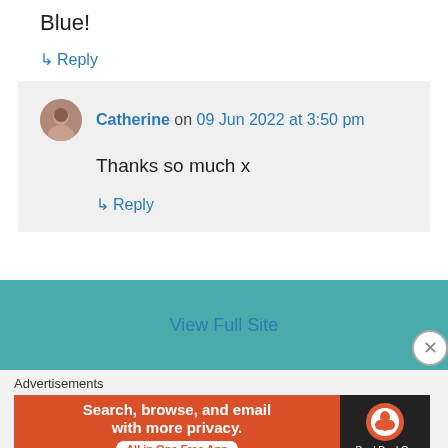Blue!
↳ Reply
Catherine on 09 Jun 2022 at 3:50 pm
Thanks so much x
↳ Reply
View Full Site
Advertisements
[Figure (screenshot): DuckDuckGo advertisement banner: 'Search, browse, and email with more privacy. All in One Free App' with DuckDuckGo logo on dark background]